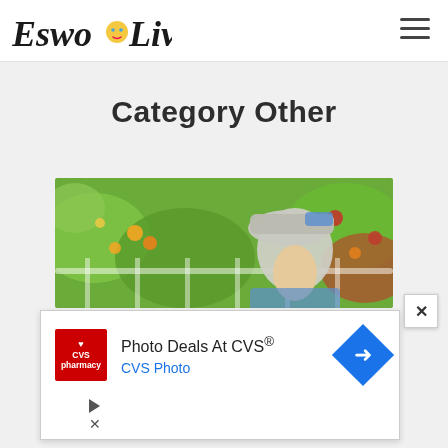EswoLive
Category Other
[Figure (photo): Child wearing a cap in a garden with colorful flowers in the background]
[Figure (screenshot): Advertisement: Photo Deals At CVS® - CVS Photo, with CVS Pharmacy logo and navigation arrow icon]